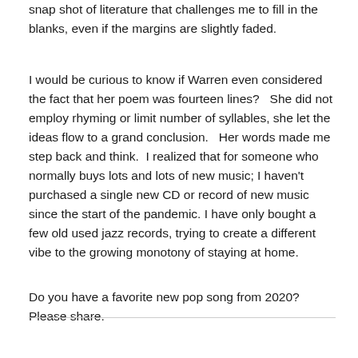snap shot of literature that challenges me to fill in the blanks, even if the margins are slightly faded.
I would be curious to know if Warren even considered the fact that her poem was fourteen lines?   She did not employ rhyming or limit number of syllables, she let the ideas flow to a grand conclusion.   Her words made me step back and think.  I realized that for someone who normally buys lots and lots of new music; I haven't purchased a single new CD or record of new music since the start of the pandemic. I have only bought a few old used jazz records, trying to create a different vibe to the growing monotony of staying at home.
Do you have a favorite new pop song from 2020? Please share.